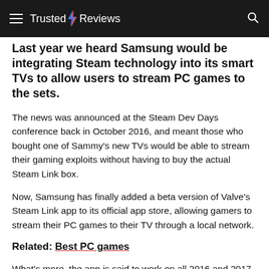Trusted Reviews
Last year we heard Samsung would be integrating Steam technology into its smart TVs to allow users to stream PC games to the sets.
The news was announced at the Steam Dev Days conference back in October 2016, and meant those who bought one of Sammy's new TVs would be able to stream their gaming exploits without having to buy the actual Steam Link box.
Now, Samsung has finally added a beta version of Valve's Steam Link app to its official app store, allowing gamers to stream their PC games to their TV through a local network.
Related: Best PC games
What's more, the app is said to work on all 2016 and 2017 4K Samsung TVs, so even those who have already bought a 4K set in the last year should be able to make use of the